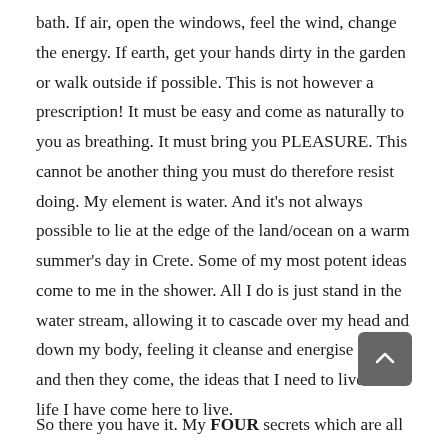bath. If air, open the windows, feel the wind, change the energy. If earth, get your hands dirty in the garden or walk outside if possible. This is not however a prescription! It must be easy and come as naturally to you as breathing. It must bring you PLEASURE. This cannot be another thing you must do therefore resist doing. My element is water. And it's not always possible to lie at the edge of the land/ocean on a warm summer's day in Crete. Some of my most potent ideas come to me in the shower. All I do is just stand in the water stream, allowing it to cascade over my head and down my body, feeling it cleanse and energise me…and then they come, the ideas that I need to live the life I have come here to live.
So there you have it. My FOUR secrets which are all